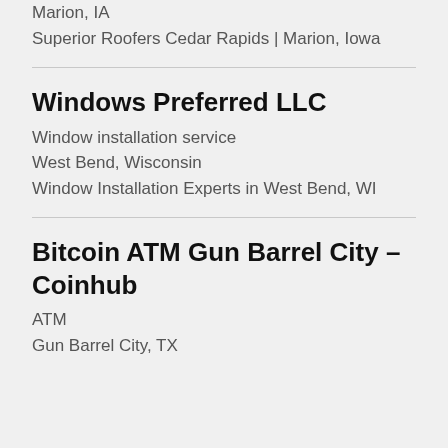Marion, IA
Superior Roofers Cedar Rapids | Marion, Iowa
Windows Preferred LLC
Window installation service
West Bend, Wisconsin
Window Installation Experts in West Bend, WI
Bitcoin ATM Gun Barrel City – Coinhub
ATM
Gun Barrel City, TX